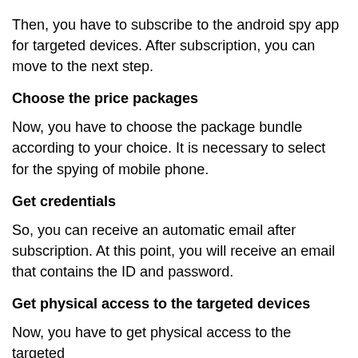Then, you have to subscribe to the android spy app for targeted devices. After subscription, you can move to the next step.
Choose the price packages
Now, you have to choose the package bundle according to your choice. It is necessary to select for the spying of mobile phone.
Get credentials
So, you can receive an automatic email after subscription. At this point, you will receive an email that contains the ID and password.
Get physical access to the targeted devices
Now, you have to get physical access to the targeted